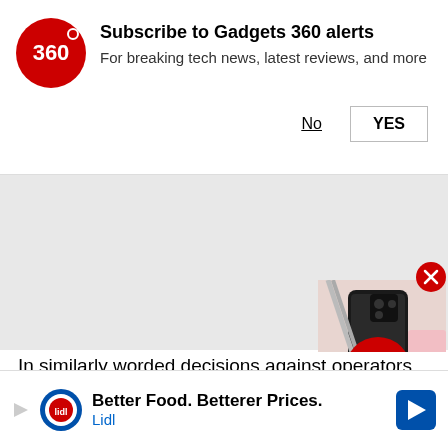[Figure (screenshot): Gadgets 360 notification subscription prompt with red circular logo showing '360', bold title 'Subscribe to Gadgets 360 alerts', subtitle 'For breaking tech news, latest reviews, and more', and two buttons: 'No' (underlined) and 'YES' (outlined button)]
[Figure (photo): Grey background area with a partially visible video thumbnail in the bottom right showing a dark smartphone (likely Poco or similar Android phone) with a red play button overlay, and a red circular close/X button]
In similarly worded decisions against operators, the Telecom Regulatory Authority of India
[Figure (screenshot): Lidl advertisement banner at bottom: 'Better Food. Betterer Prices.' with Lidl logo and navigation arrow icon]